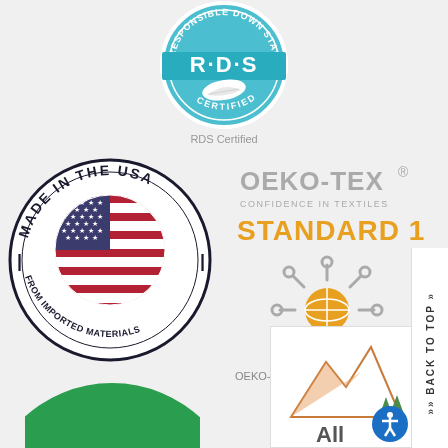[Figure (logo): RDS Responsible Down Standard certified circular logo with feather, blue color scheme]
RDS Certified
[Figure (logo): Made in the USA from Imported Materials circular logo with American flag]
[Figure (logo): OEKO-TEX Standard 100 logo with globe/snowflake symbol, confidence in textiles tagline]
[Figure (logo): Partial green circle logo at bottom left]
[Figure (logo): OEKO-TEX partial badge at bottom right with mountain/All text]